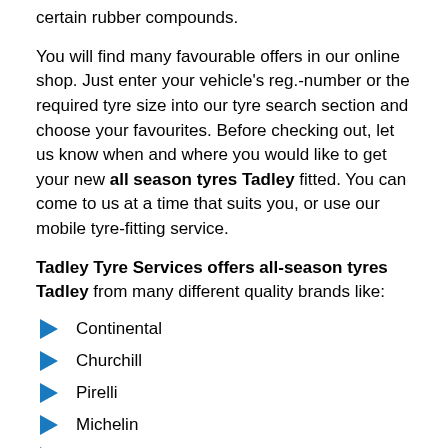certain rubber compounds.
You will find many favourable offers in our online shop. Just enter your vehicle’s reg.-number or the required tyre size into our tyre search section and choose your favourites. Before checking out, let us know when and where you would like to get your new all season tyres Tadley fitted. You can come to us at a time that suits you, or use our mobile tyre-fitting service.
Tadley Tyre Services offers all-season tyres Tadley from many different quality brands like:
Continental
Churchill
Pirelli
Michelin
And many more.
We have all-season tyres Tadley available for all the different car tyres and budgets. So, whether you are looking for